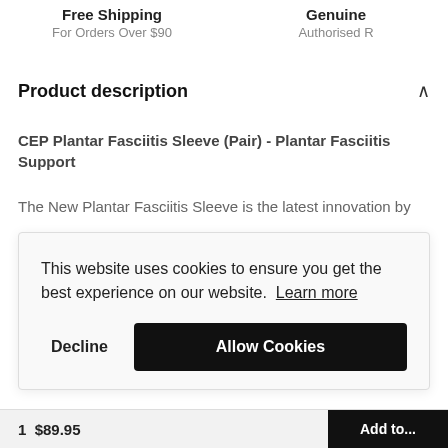Free Shipping For Orders Over $90 | Genuine Authorised
Product description
CEP Plantar Fasciitis Sleeve (Pair) - Plantar Fasciitis Support
The New Plantar Fasciitis Sleeve is the latest innovation by
This website uses cookies to ensure you get the best experience on our website. Learn more
Decline
Allow Cookies
1 $89.95